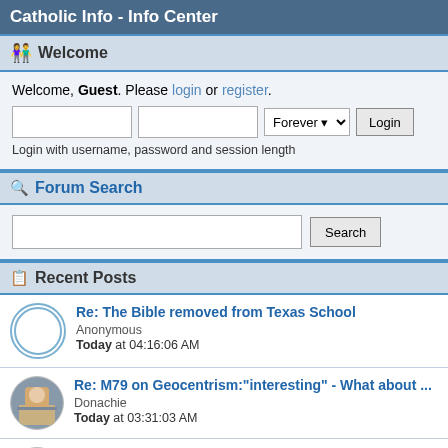Catholic Info - Info Center
Welcome
Welcome, Guest. Please login or register.
Login with username, password and session length
Forum Search
Search
Recent Posts
Re: The Bible removed from Texas School
Anonymous
Today at 04:16:06 AM
Re: M79 on Geocentrism:"interesting" - What about ...
Donachie
Today at 03:31:03 AM
Miraculous medal
xavierpope
Today at 03:01:49 AM
Re: % Confidence in Earth's Shape